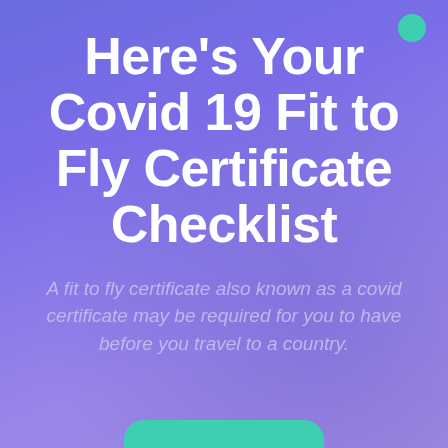Here's Your Covid 19 Fit to Fly Certificate Checklist
A fit to fly certificate also known as a covid certificate may be required for you to have before you travel to a country.